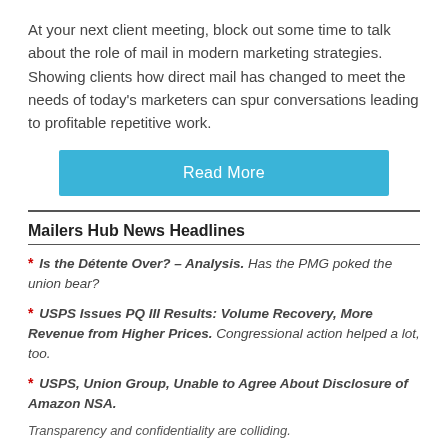At your next client meeting, block out some time to talk about the role of mail in modern marketing strategies. Showing clients how direct mail has changed to meet the needs of today's marketers can spur conversations leading to profitable repetitive work.
Read More
Mailers Hub News Headlines
* Is the Détente Over? – Analysis. Has the PMG poked the union bear?
* USPS Issues PQ III Results: Volume Recovery, More Revenue from Higher Prices. Congressional action helped a lot, too.
* USPS, Union Group, Unable to Agree About Disclosure of Amazon NSA.
Transparency and confidentiality are colliding.